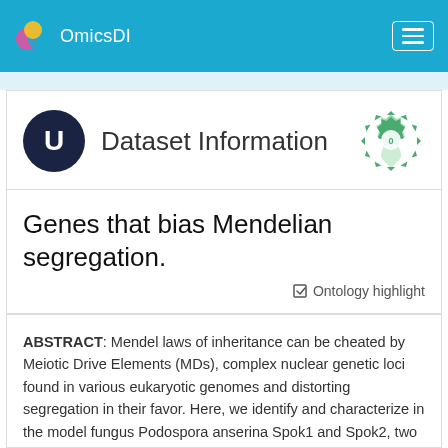OmicsDI
Dataset Information
Genes that bias Mendelian segregation.
Ontology highlight
ABSTRACT: Mendel laws of inheritance can be cheated by Meiotic Drive Elements (MDs), complex nuclear genetic loci found in various eukaryotic genomes and distorting segregation in their favor. Here, we identify and characterize in the model fungus Podospora anserina Spok1 and Spok2, two MDs known as Spore Killers. We show that they are